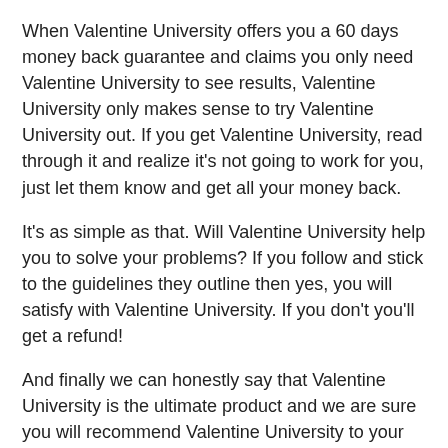When Valentine University offers you a 60 days money back guarantee and claims you only need Valentine University to see results, Valentine University only makes sense to try Valentine University out. If you get Valentine University, read through it and realize it's not going to work for you, just let them know and get all your money back.
It's as simple as that. Will Valentine University help you to solve your problems? If you follow and stick to the guidelines they outline then yes, you will satisfy with Valentine University. If you don't you'll get a refund!
And finally we can honestly say that Valentine University is the ultimate product and we are sure you will recommend Valentine University to your friends too. The price of Valentine University is nothing when we consider the services and the bonuses.
Own your Valentine University soon and be a happy contented man! Just click the button below to own your Valentine University and order as a discounted price after the payment and claim your bonuses. Valentine University tested by many companies